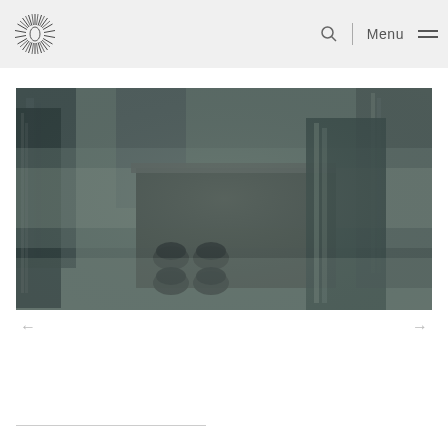Logo | Search | Menu
[Figure (photo): Aerial view of rooftop with HVAC equipment and surrounding foggy urban buildings, dark muted tones]
← →